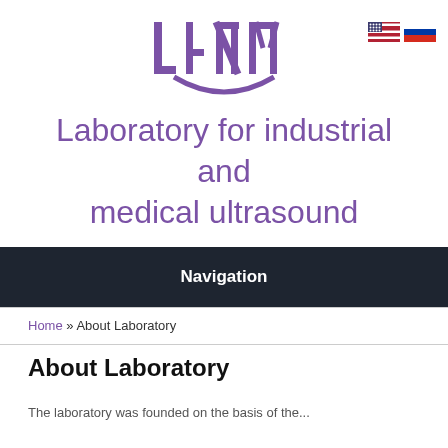[Figure (logo): LAMU laboratory logo — stylized purple lettering with curved underline]
[Figure (illustration): US and Russian flag icons for language selection]
Laboratory for industrial and medical ultrasound
Navigation
Home » About Laboratory
About Laboratory
The laboratory was founded on the basis of the...